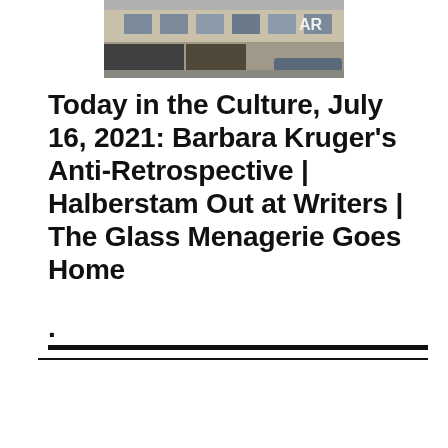[Figure (photo): Photograph of a building exterior, showing a stone or concrete facade with windows and signage, partially cropped at the top of the page.]
Today in the Culture, July 16, 2021: Barbara Kruger's Anti-Retrospective | Halberstam Out at Writers | The Glass Menagerie Goes Home
.